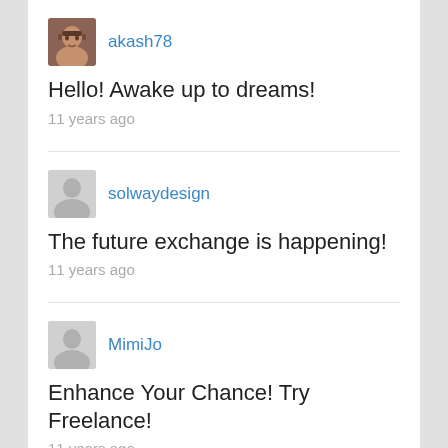akash78
Hello! Awake up to dreams!
11 years ago
solwaydesign
The future exchange is happening!
11 years ago
MimiJo
Enhance Your Chance! Try Freelance!
11 years ago
HRcomputer